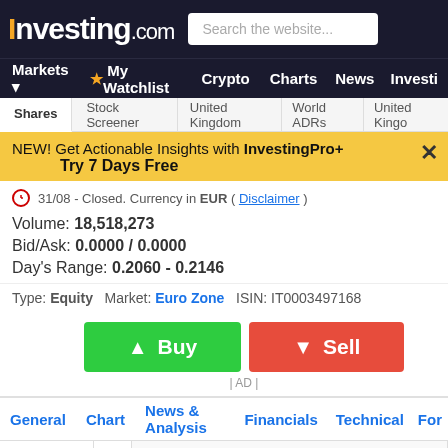Investing.com — Search the website...
Markets  My Watchlist  Crypto  Charts  News  Investi
Shares  Stock Screener  United Kingdom  World ADRs  United Kingdom
NEW! Get Actionable Insights with InvestingPro+  Try 7 Days Free
31/08 - Closed. Currency in EUR ( Disclaimer )
Volume: 18,518,273
Bid/Ask: 0.0000 / 0.0000
Day's Range: 0.2060 - 0.2146
Type: Equity   Market: Euro Zone   ISIN: IT0003497168
Buy  Sell
| AD |
General  Chart  News & Analysis  Financials  Technical  For
Discussions  Re...  TLIT Comments